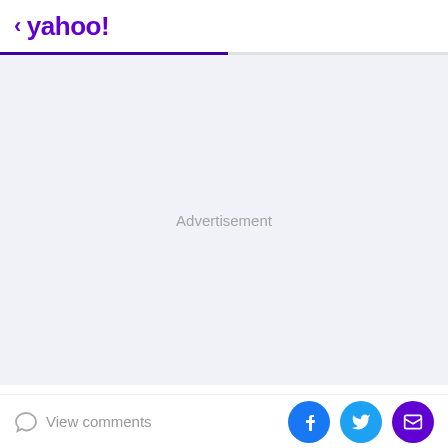< yahoo!
[Figure (other): Advertisement placeholder area with light blue-gray background and 'Advertisement' label centered]
Now that I recognize her neglect, she is no longer
View comments | Share on Facebook | Share on Twitter | Share via Email